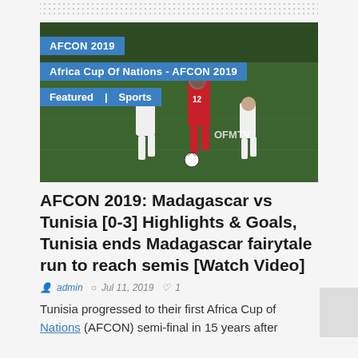[Figure (photo): Football players on a pitch during AFCON 2019, with overlay tags: AFCON 2019, Africa Cup Of Nations - AFCON 2019, Featured | Sports, and OFMTV watermark]
AFCON 2019: Madagascar vs Tunisia [0-3] Highlights & Goals, Tunisia ends Madagascar fairytale run to reach semis [Watch Video]
admin  Jul 11, 2019  1
Tunisia progressed to their first Africa Cup of Nations (AFCON) semi-final in 15 years after